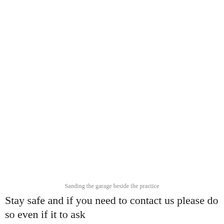Sanding the garage beside the practice
Stay safe and if you need to contact us please do so even if it to ask